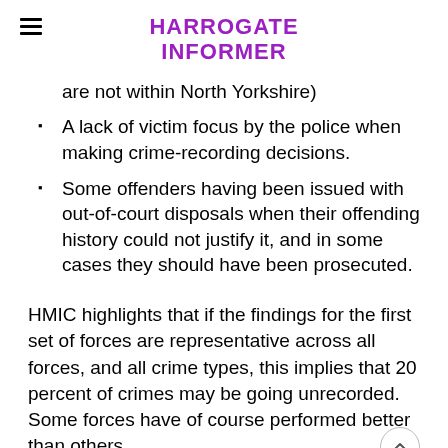HARROGATE INFORMER
are not within North Yorkshire)
A lack of victim focus by the police when making crime-recording decisions.
Some offenders having been issued with out-of-court disposals when their offending history could not justify it, and in some cases they should have been prosecuted.
HMIC highlights that if the findings for the first set of forces are representative across all forces, and all crime types, this implies that 20 percent of crimes may be going unrecorded. Some forces have of course performed better than others.
The report sets out a number of reasons for these